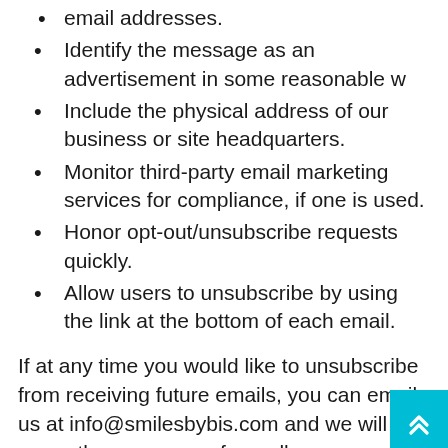Not use false or misleading subjects or email addresses.
Identify the message as an advertisement in some reasonable w
Include the physical address of our business or site headquarters.
Monitor third-party email marketing services for compliance, if one is used.
Honor opt-out/unsubscribe requests quickly.
Allow users to unsubscribe by using the link at the bottom of each email.
If at any time you would like to unsubscribe from receiving future emails, you can email us at info@smilesbybis.com and we will promptly remove you from all correspondence.
If there are any questions regarding this